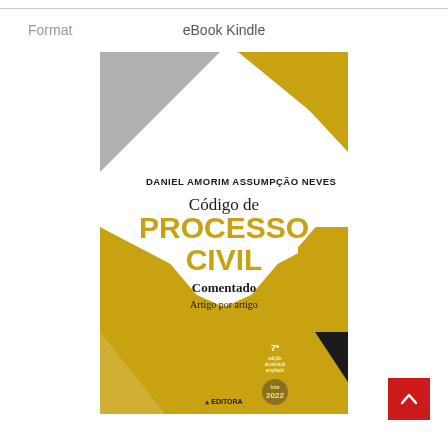Format    eBook Kindle
[Figure (illustration): Book cover of 'Código de Processo Civil Comentado' by Daniel Amorim Assumpção Neves, 7th edition 2022, published by Editora JuPodivm. Cover features gold and white geometric shapes with dark corner accents.]